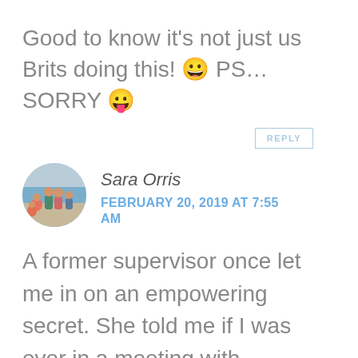Good to know it's not just us Brits doing this! 😀 PS… SORRY 😛
REPLY
[Figure (photo): Circular avatar photo of Sara Orris with family group at beach]
Sara Orris
FEBRUARY 20, 2019 AT 7:55 AM
A former supervisor once let me in on an empowering secret. She told me if I was ever in a meeting with